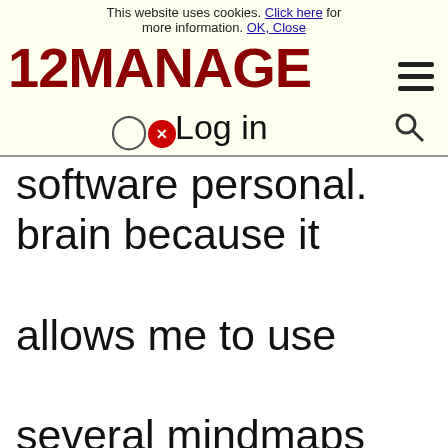This website uses cookies. Click here for more information. OK, Close
[Figure (screenshot): 12manage website logo in dark red/maroon bold font with hamburger menu icon on right and user/search icons overlay row]
software personal. brain because it allows me to use several mindmaps simultaneously. It takes the mindmapping just